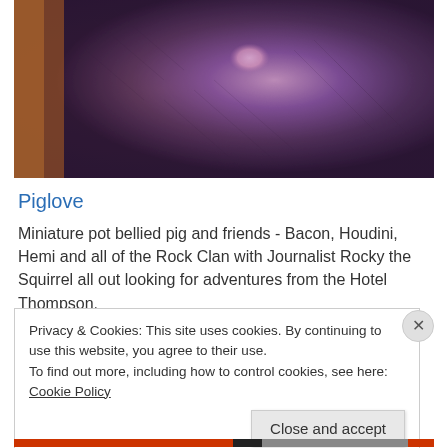[Figure (photo): Close-up photograph of a miniature pot-bellied pig's face/snout area, showing dark fur/bristles with pinkish nose and purple-tinted coloring]
Piglove
Miniature pot bellied pig and friends - Bacon, Houdini, Hemi and all of the Rock Clan with Journalist Rocky the Squirrel all out looking for adventures from the Hotel Thompson.
Privacy & Cookies: This site uses cookies. By continuing to use this website, you agree to their use.
To find out more, including how to control cookies, see here: Cookie Policy
Close and accept